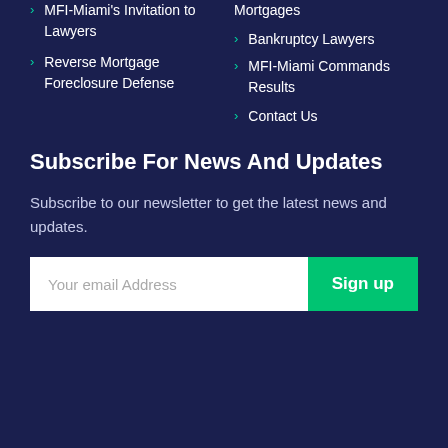MFI-Miami's Invitation to Lawyers
Reverse Mortgage Foreclosure Defense
Mortgages
Bankruptcy Lawyers
MFI-Miami Commands Results
Contact Us
Subscribe For News And Updates
Subscribe to our newsletter to get the latest news and updates.
Your email Address
Sign up